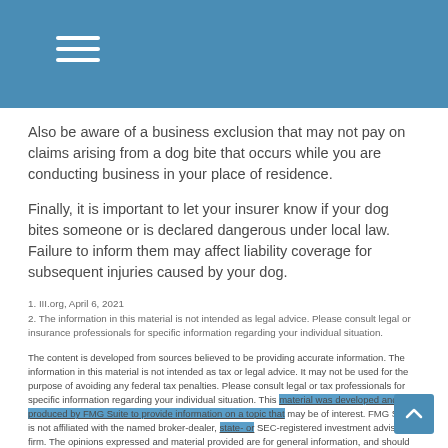Also be aware of a business exclusion that may not pay on claims arising from a dog bite that occurs while you are conducting business in your place of residence.
Finally, it is important to let your insurer know if your dog bites someone or is declared dangerous under local law. Failure to inform them may affect liability coverage for subsequent injuries caused by your dog.
1. III.org, April 6, 2021
2. The information in this material is not intended as legal advice. Please consult legal or insurance professionals for specific information regarding your individual situation.
The content is developed from sources believed to be providing accurate information. The information in this material is not intended as tax or legal advice. It may not be used for the purpose of avoiding any federal tax penalties. Please consult legal or tax professionals for specific information regarding your individual situation. This material was developed and produced by FMG Suite to provide information on a topic that may be of interest. FMG Suite is not affiliated with the named broker-dealer, state- or SEC-registered investment advisory firm. The opinions expressed and material provided are for general information, and should not be considered a solicitation for